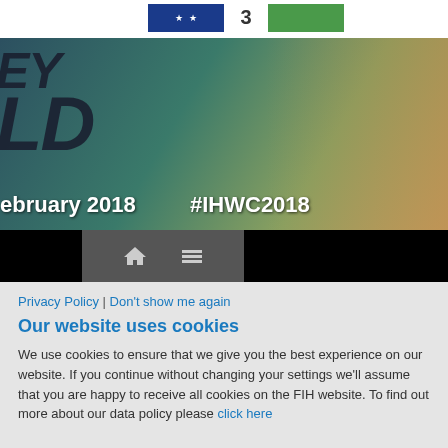[Figure (screenshot): Website screenshot showing FIH hockey world cup promotional banner with players, text 'EY WORLD' partially visible, date 'February 2018' and hashtag '#IHWC2018', navigation bar with home and menu icons, and a cookies consent notice below.]
Privacy Policy | Don't show me again
Our website uses cookies
We use cookies to ensure that we give you the best experience on our website. If you continue without changing your settings we'll assume that you are happy to receive all cookies on the FIH website. To find out more about our data policy please click here